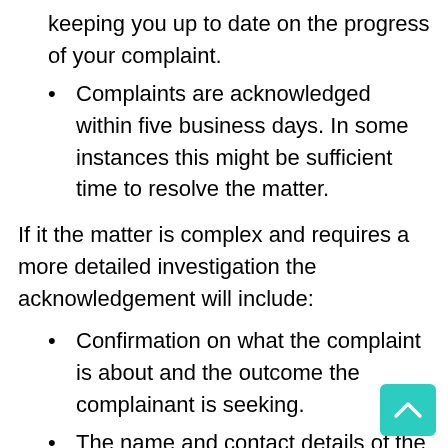keeping you up to date on the progress of your complaint.
Complaints are acknowledged within five business days. In some instances this might be sufficient time to resolve the matter.
If it the matter is complex and requires a more detailed investigation the acknowledgement will include:
Confirmation on what the complaint is about and the outcome the complainant is seeking.
The name and contact details of the officer investigating the complaint.